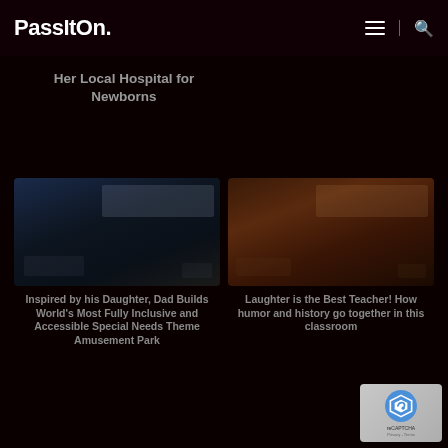PassItOn.
Her Local Hospital for Newborns
[Figure (screenshot): Dark themed card image for amusement park article, shows faded blue-dark background with small ad banner overlay]
Inspired by his Daughter, Dad Builds World's Most Fully Inclusive and Accessible Special Needs Theme Amusement Park
[Figure (screenshot): Dark themed card image for classroom/humor article, shows warm dark brown background with small ad banner overlay]
Laughter is the Best Teacher! How humor and history go together in this classroom